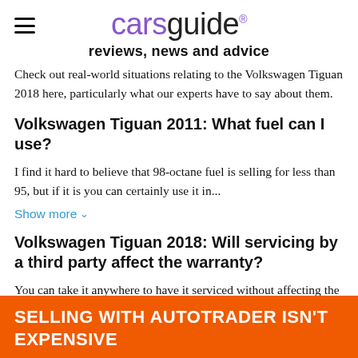carsguide reviews, news and advice
Check out real-world situations relating to the Volkswagen Tiguan 2018 here, particularly what our experts have to say about them.
Volkswagen Tiguan 2011: What fuel can I use?
I find it hard to believe that 98-octane fuel is selling for less than 95, but if it is you can certainly use it in...
Show more
Volkswagen Tiguan 2018: Will servicing by a third party affect the warranty?
You can take it anywhere to have it serviced without affecting the warranty, as long as it is done accordin...
Show
[Figure (other): Orange advertisement banner: SELLING WITH AUTOTRADER ISN'T EXPENSIVE]